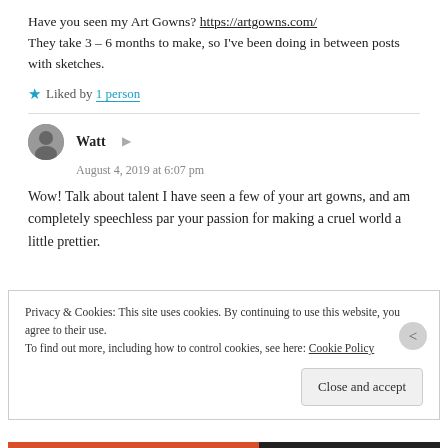Have you seen my Art Gowns? https://artgowns.com/ They take 3 – 6 months to make, so I've been doing in between posts with sketches.
Liked by 1 person
Watt  August 4, 2019 at 6:07 pm
Wow! Talk about talent I have seen a few of your art gowns, and am completely speechless par your passion for making a cruel world a little prettier.
Privacy & Cookies: This site uses cookies. By continuing to use this website, you agree to their use. To find out more, including how to control cookies, see here: Cookie Policy
Close and accept